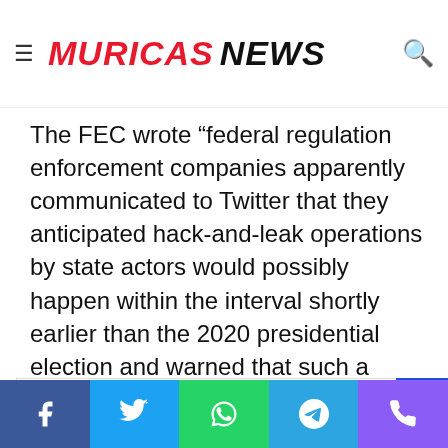MURICAS NEWS
The FEC wrote “federal regulation enforcement companies apparently communicated to Twitter that they anticipated hack-and-leak operations by state actors would possibly happen within the interval shortly earlier than the 2020 presidential election and warned that such a hack-and-leak operation would possibly contain Hunter Biden” and “these circumstances seem to mirror a business, not electoral, foundation for Twitter to have blocked customers from sharing this info on its platform.”
Top News:  300-400 Ukrainian troops trapped at Azot chemical plant in Severodonetsk | World News